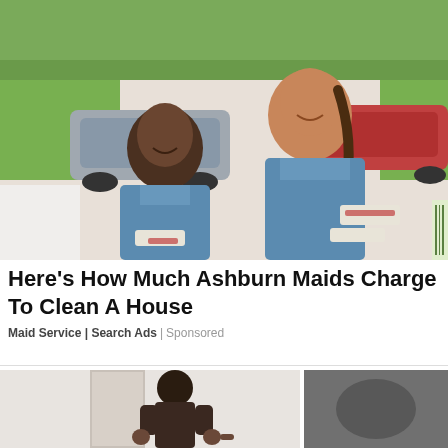[Figure (photo): Two women in blue uniform shirts with name badges standing outside in a residential neighborhood with cars and greenery in the background]
Here's How Much Ashburn Maids Charge To Clean A House
Maid Service | Search Ads | Sponsored
[Figure (photo): Two side-by-side video thumbnails: left shows a person from behind in an interior room, right shows a dark blurry image]